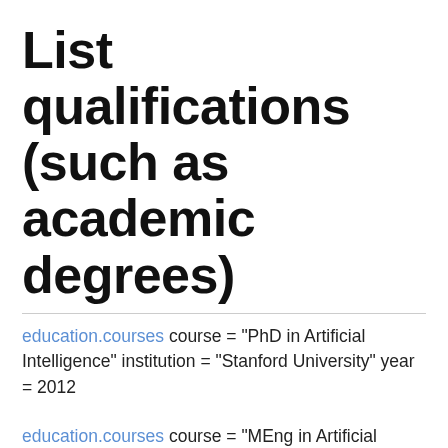List qualifications (such as academic degrees)
education.courses course = "PhD in Artificial Intelligence" institution = "Stanford University" year = 2012
education.courses course = "MEng in Artificial Intelligence" institution = "Massachusetts Institute of Technology" year = 2009